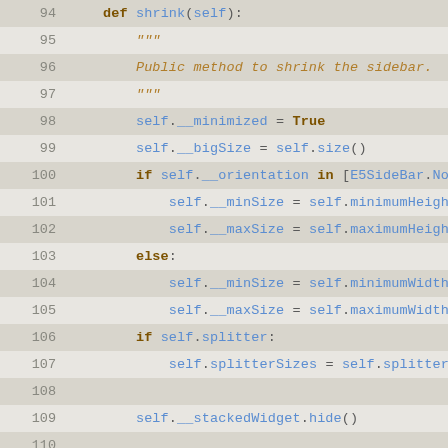Code listing showing Python class methods 'shrink' and 'expand' for a sidebar widget, lines 94-120.